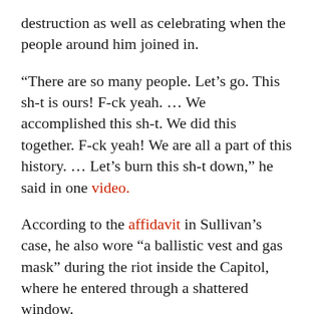destruction as well as celebrating when the people around him joined in.
“There are so many people. Let’s go. This sh-t is ours! F-ck yeah. … We accomplished this sh-t. We did this together. F-ck yeah! We are all a part of this history. … Let’s burn this sh-t down,” he said in one video.
According to the affidavit in Sullivan’s case, he also wore “a ballistic vest and gas mask” during the riot inside the Capitol, where he entered through a shattered window.
The FBI has reportedly arrested a different leftist protester who planned violence against Trump supporters at the Florida state capitol.